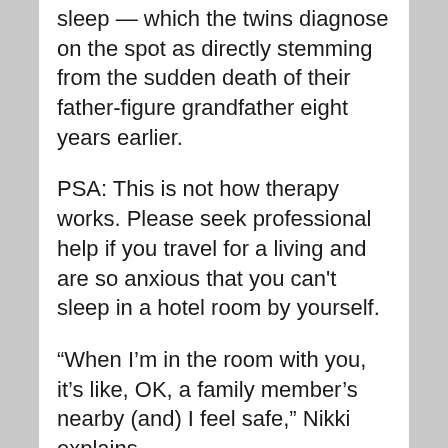sleep — which the twins diagnose on the spot as directly stemming from the sudden death of their father-figure grandfather eight years earlier.
PSA: This is not how therapy works. Please seek professional help if you travel for a living and are so anxious that you can't sleep in a hotel room by yourself.
“When I’m in the room with you, it’s like, OK, a family member’s nearby (and) I feel safe,” Nikki explains.
“Now it makes me feel really bad that I kick